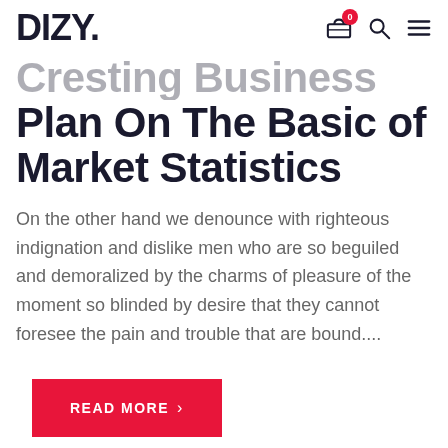DIZY.
Plan On The Basic of Market Statistics
On the other hand we denounce with righteous indignation and dislike men who are so beguiled and demoralized by the charms of pleasure of the moment so blinded by desire that they cannot foresee the pain and trouble that are bound....
READ MORE >